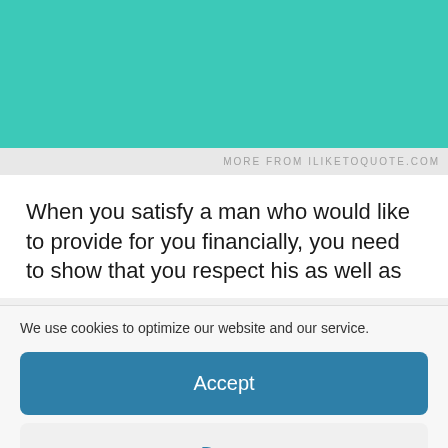[Figure (other): Teal/turquoise colored banner image with watermark bar at bottom reading MORE FROM ILIKETOQUOTE.COM]
When you satisfy a man who would like to provide for you financially, you need to show that you respect his as well as
We use cookies to optimize our website and our service.
Accept
Deny
Preferences
Cookie Policy   Légal